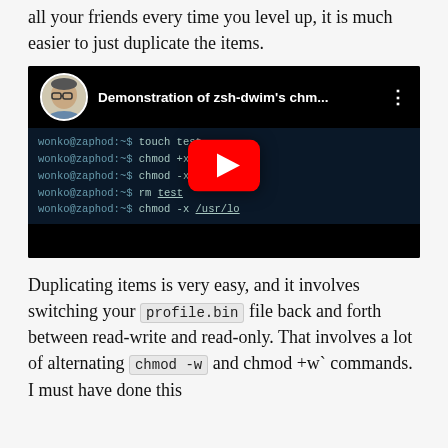all your friends every time you level up, it is much easier to just duplicate the items.
[Figure (screenshot): YouTube video thumbnail showing 'Demonstration of zsh-dwim's chm...' with a terminal showing chmod commands and a YouTube play button overlay.]
Duplicating items is very easy, and it involves switching your profile.bin file back and forth between read-write and read-only. That involves a lot of alternating chmod -w and chmod +w` commands. I must have done this